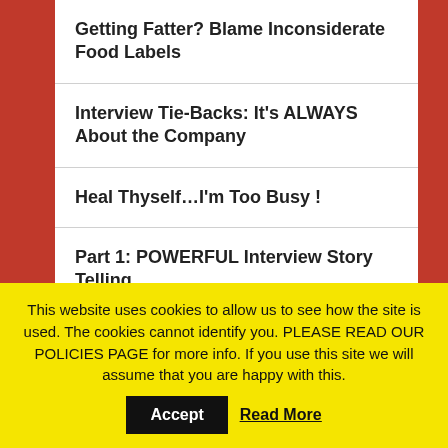Getting Fatter? Blame Inconsiderate Food Labels
Interview Tie-Backs: It’s ALWAYS About the Company
Heal Thyself…I’m Too Busy !
Part 1: POWERFUL Interview Story Telling
Part 2: POWERFUL Interview Story Telling
Part 3: Examples of Great Interview Job Stories
This website uses cookies to allow us to see how the site is used. The cookies cannot identify you. PLEASE READ OUR POLICIES PAGE for more info. If you use this site we will assume that you are happy with this.